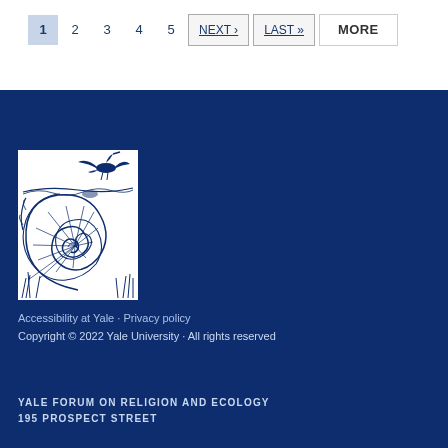1 2 3 4 5 NEXT › LAST » MORE
[Figure (illustration): Yale Forum on Religion and Ecology logo illustration: a nautilus shell with a bird flying above, line art in dark blue on white background]
Accessibility at Yale · Privacy policy
Copyright © 2022 Yale University · All rights reserved

YALE FORUM ON RELIGION AND ECOLOGY
195 PROSPECT STREET